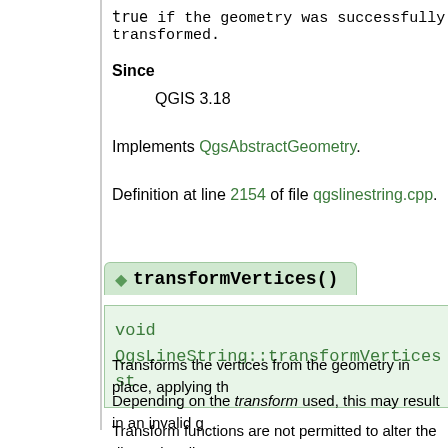true if the geometry was successfully transformed.
Since
QGIS 3.18
Implements QgsAbstractGeometry.
Definition at line 2154 of file qgslinestring.cpp.
◆ transformVertices()
void QgsLineString::transformVertices ( const st
Transforms the vertices from the geometry in place, applying th
Depending on the transform used, this may result in an invalid g
Transform functions are not permitted to alter the dimensionality corresponding addZValue() or addMValue() function to change t